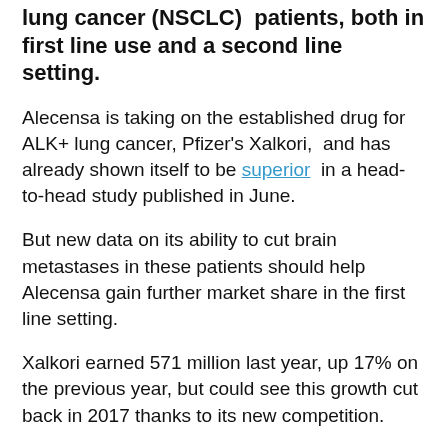lung cancer (NSCLC) patients, both in first line use and a second line setting.
Alecensa is taking on the established drug for ALK+ lung cancer, Pfizer's Xalkori, and has already shown itself to be superior in a head-to-head study published in June.
But new data on its ability to cut brain metastases in these patients should help Alecensa gain further market share in the first line setting.
Xalkori earned 571 million last year, up 17% on the previous year, but could see this growth cut back in 2017 thanks to its new competition.
A new subgroup analysis shows that in patients who had metastases in the central nervous system (CNS), Alecensa cut the risk of disease progression in the CNS by 60% compared to Xalkori.
This follows, as while Xalkori doesn't cross